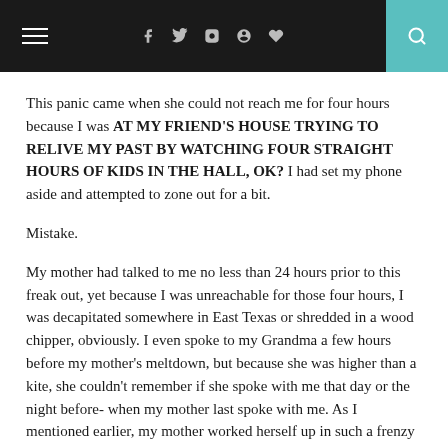Navigation header with menu icon, social icons (f, twitter, instagram, pinterest, heart), and search
This panic came when she could not reach me for four hours because I was AT MY FRIEND'S HOUSE TRYING TO RELIVE MY PAST BY WATCHING FOUR STRAIGHT HOURS OF KIDS IN THE HALL, OK? I had set my phone aside and attempted to zone out for a bit.
Mistake.
My mother had talked to me no less than 24 hours prior to this freak out, yet because I was unreachable for those four hours, I was decapitated somewhere in East Texas or shredded in a wood chipper, obviously. I even spoke to my Grandma a few hours before my mother's meltdown, but because she was higher than a kite, she couldn't remember if she spoke with me that day or the night before- when my mother last spoke with me. As I mentioned earlier, my mother worked herself up in such a frenzy